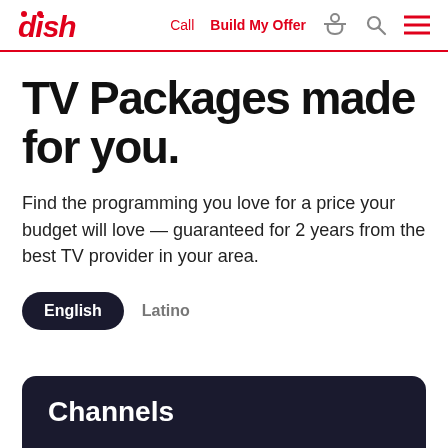dish | Call | Build My Offer
TV Packages made for you.
Find the programming you love for a price your budget will love — guaranteed for 2 years from the best TV provider in your area.
English
Latino
Channels